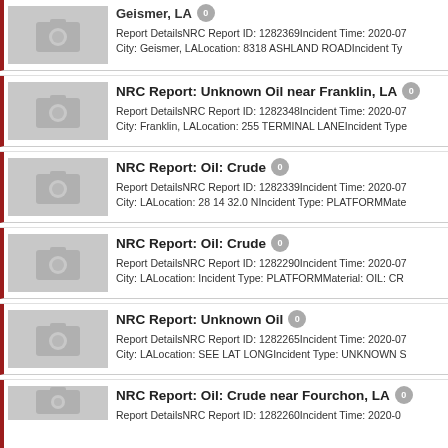NRC Report: Shallow Yellowjack near Geismer, LA — Report DetailsNRC Report ID: 1282369Incident Time: 2020-07 City: Geismer, LALocation: 8318 ASHLAND ROADIncident Type
NRC Report: Unknown Oil near Franklin, LA — Report DetailsNRC Report ID: 1282348Incident Time: 2020-07 City: Franklin, LALocation: 255 TERMINAL LANEIncident Type
NRC Report: Oil: Crude — Report DetailsNRC Report ID: 1282339Incident Time: 2020-07 City: LALocation: 28 14 32.0 NIncident Type: PLATFORMMate
NRC Report: Oil: Crude — Report DetailsNRC Report ID: 1282290Incident Time: 2020-07 City: LALocation: Incident Type: PLATFORMMaterial: OIL: CR
NRC Report: Unknown Oil — Report DetailsNRC Report ID: 1282265Incident Time: 2020-07 City: LALocation: SEE LAT LONGIncident Type: UNKNOWN S
NRC Report: Oil: Crude near Fourchon, LA — Report DetailsNRC Report ID: 1282260Incident Time: 2020-07